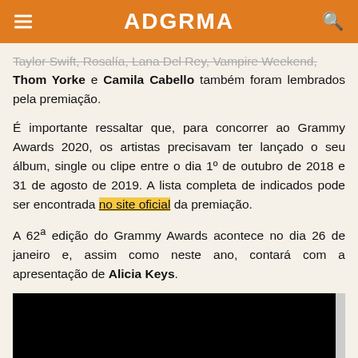ADGRMA
Taylor Swift, Rosalía, Lana Del Rey, Vampire Weekend, Thom Yorke e Camila Cabello também foram lembrados pela premiação.
É importante ressaltar que, para concorrer ao Grammy Awards 2020, os artistas precisavam ter lançado o seu álbum, single ou clipe entre o dia 1º de outubro de 2018 e 31 de agosto de 2019. A lista completa de indicados pode ser encontrada no site oficial da premiação.
A 62ª edição do Grammy Awards acontece no dia 26 de janeiro e, assim como neste ano, contará com a apresentação de Alicia Keys.
[Figure (other): Black video embed placeholder at the bottom of the page]